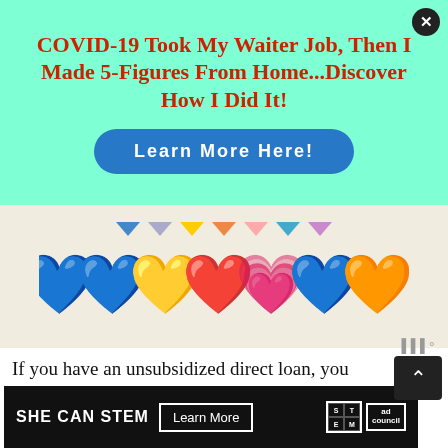[Figure (infographic): Teal/mint green ad overlay with red bold headline text 'COVID-19 Took My Waiter Job, Then I Made 5-Figures From Home...Discover How I Did It!' and a blue rounded-rectangle button labeled 'Learn More Here!' with a close X button in the top-right corner]
[Figure (illustration): Row of colorful smiley-face emoji hearts (dark blue, blue, yellow/gold, red/orange, pink/magenta, light blue, orange-red) on a beige/cream background, with small colored triangle arrows above them]
If you have an unsubsidized direct loan, you are responsible for making the interest payments yourself during the deferment period, or the
[Figure (infographic): Black banner ad: 'SHE CAN STEM' in white bold text, a 'Learn More' button with white border, STEM logo grid, and Ad Council logo on the right]
[Figure (infographic): Scroll-up widget: dark background button with upward chevron arrow, and weather icon above it]